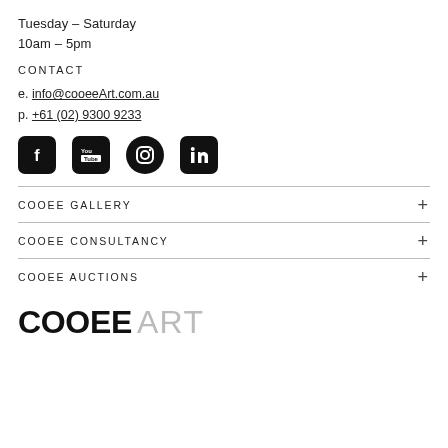Tuesday – Saturday
10am – 5pm
CONTACT
e. info@cooeeartcom.au
p. +61 (02) 9300 9233
[Figure (other): Social media icons: Facebook, YouTube, Instagram, LinkedIn]
COOEE GALLERY
COOEE CONSULTANCY
COOEE AUCTIONS
COOEE ART